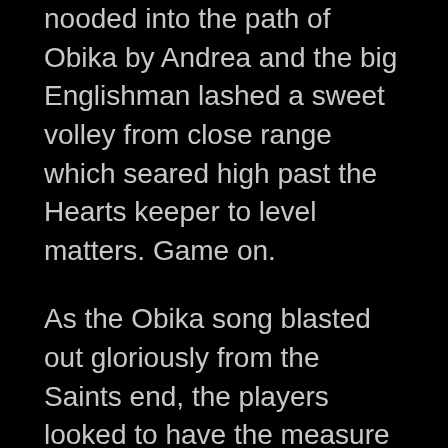nooded into the path of Obika by Andrea and the big Englishman lashed a sweet volley from close range which seared high past the Hearts keeper to level matters. Game on.
As the Obika song blasted out gloriously from the Saints end, the players looked to have the measure of Hearts and if we could take the lead the grumbles of the home support would soon turn into major groans and the match was undoubtedly there to win, so it was imperative we kept it tight for the next twenty minutes or so and waited on the inevitable opportunities that would follow.
Hearts on the other hand had decided to play giant forward Uche Ikpeazu on the right wing directly against Calum Waters, a tactic Hearts also used in the Paisley